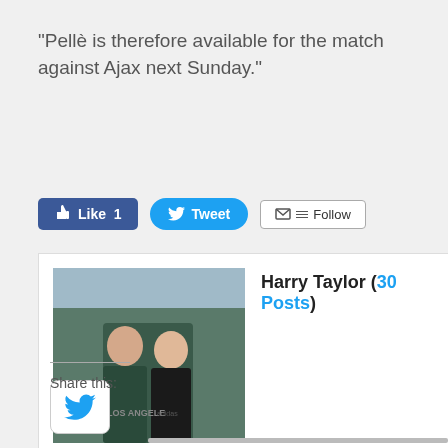“Pellè is therefore available for the match against Ajax next Sunday.”
[Figure (screenshot): Social media buttons: Facebook Like (1), Twitter Tweet, and Follow button with email/RSS icons]
[Figure (screenshot): Author card showing Harry Taylor (30 Posts) with a profile photo of two young men]
[Figure (logo): Twitter bird icon in a white rounded square box]
Share this: